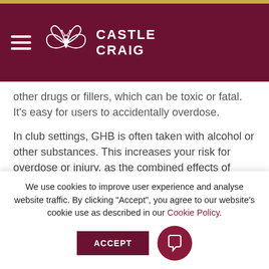Castle Craig
other drugs or fillers, which can be toxic or fatal. It's easy for users to accidentally overdose.
In club settings, GHB is often taken with alcohol or other substances. This increases your risk for overdose or injury, as the combined effects of multiple drugs may have a stronger impact on your body and brain. Large doses, doses of unknown concentration (which is all of them, since gamma-hydroxybutyric acid is unregulated and sold in illicit labs) and combining GHB with
We use cookies to improve user experience and analyse website traffic. By clicking "Accept", you agree to our website's cookie use as described in our Cookie Policy.